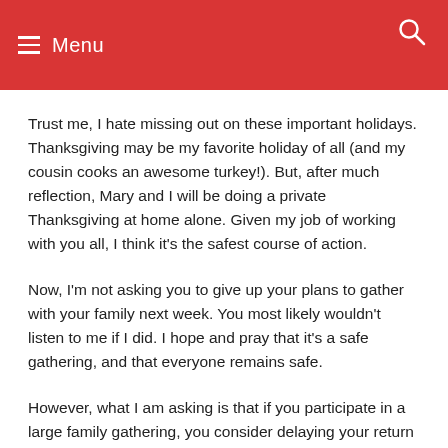Menu
Trust me, I hate missing out on these important holidays. Thanksgiving may be my favorite holiday of all (and my cousin cooks an awesome turkey!). But, after much reflection, Mary and I will be doing a private Thanksgiving at home alone. Given my job of working with you all, I think it’s the safest course of action.
Now, I’m not asking you to give up your plans to gather with your family next week. You most likely wouldn’t listen to me if I did. I hope and pray that it’s a safe gathering, and that everyone remains safe.
However, what I am asking is that if you participate in a large family gathering, you consider delaying your return to worship for a couple of weeks. Most studies continue to suggest that folks can carry the disease for